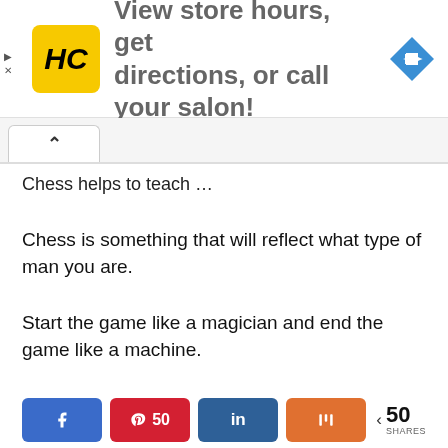[Figure (infographic): Ad banner with HC logo (yellow square with black HC text), text 'View store hours, get directions, or call your salon!', and a blue diamond navigation arrow icon on the right.]
Chess helps to teach …
Chess is something that will reflect what type of man you are.
Start the game like a magician and end the game like a machine.
[Figure (infographic): Social share buttons: Facebook (blue), Pinterest with count 50 (red), LinkedIn (dark blue), Mix (orange). Share count showing 50 SHARES.]